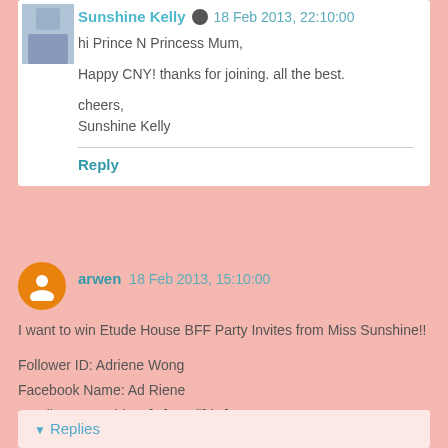Sunshine Kelly • 18 Feb 2013, 22:10:00
hi Prince N Princess Mum,

Happy CNY! thanks for joining. all the best.

cheers,
Sunshine Kelly
Reply
arwen 18 Feb 2013, 15:10:00
I want to win Etude House BFF Party Invites from Miss Sunshine!!

Follower ID: Adriene Wong
Facebook Name: Ad Riene
Email: wong0adriene[at]gmail[dot]com
Reply
▼ Replies